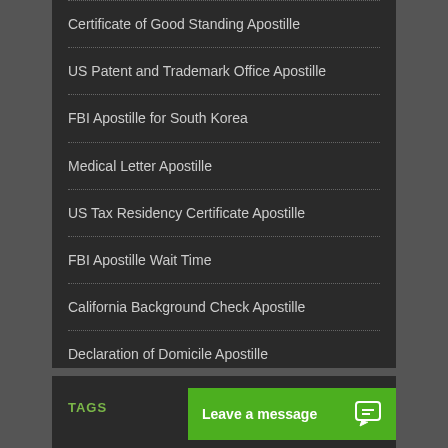Certificate of Good Standing Apostille
US Patent and Trademark Office Apostille
FBI Apostille for South Korea
Medical Letter Apostille
US Tax Residency Certificate Apostille
FBI Apostille Wait Time
California Background Check Apostille
Declaration of Domicile Apostille
TAGS
Leave a message